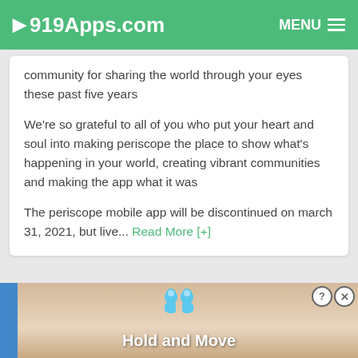919Apps.com  MENU
community for sharing the world through your eyes these past five years
We're so grateful to all of you who put your heart and soul into making periscope the place to show what's happening in your world, creating vibrant communities and making the app what it was
The periscope mobile app will be discontinued on march 31, 2021, but live... Read More [+]
[Figure (screenshot): Advertisement banner showing 'Hold and Move' game with two cartoon figures on a wooden background]